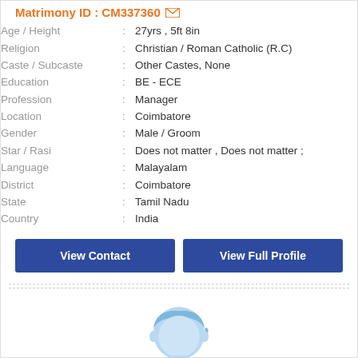Matrimony ID : CM337360
| Field | : | Value |
| --- | --- | --- |
| Age / Height | : | 27yrs , 5ft 8in |
| Religion | : | Christian / Roman Catholic (R.C) |
| Caste / Subcaste | : | Other Castes, None |
| Education | : | BE - ECE |
| Profession | : | Manager |
| Location | : | Coimbatore |
| Gender | : | Male / Groom |
| Star / Rasi | : | Does not matter , Does not matter ; |
| Language | : | Malayalam |
| District | : | Coimbatore |
| State | : | Tamil Nadu |
| Country | : | India |
View Contact
View Full Profile
[Figure (illustration): Male profile avatar placeholder icon — a stylized blue silhouette of a man's head and shoulders]